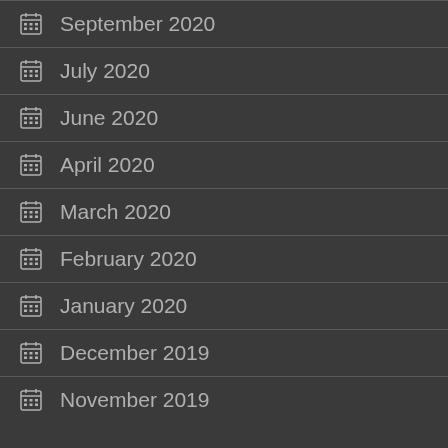September 2020
July 2020
June 2020
April 2020
March 2020
February 2020
January 2020
December 2019
November 2019